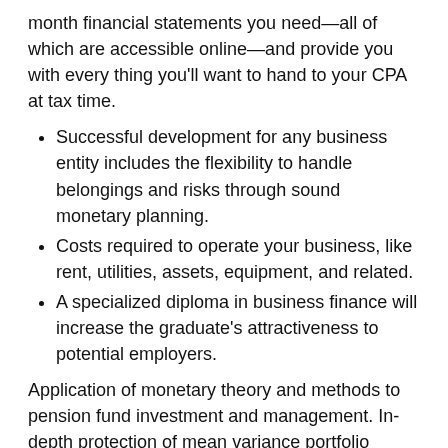month financial statements you need—all of which are accessible online—and provide you with every thing you'll want to hand to your CPA at tax time.
Successful development for any business entity includes the flexibility to handle belongings and risks through sound monetary planning.
Costs required to operate your business, like rent, utilities, assets, equipment, and related.
A specialized diploma in business finance will increase the graduate's attractiveness to potential employers.
Application of monetary theory and methods to pension fund investment and management. In-depth protection of mean variance portfolio selection, efficient frontier, Markowitz portfolio choice mannequin, and single- and multifactor index fashions. Examines capital asset pricing fashions and the efficient market hypothesis, portfolio performance evaluation, energetic portfolio management, and international diversification. Factors that have an effect on the important examination and interpretation of economic statements from the perspective of teams